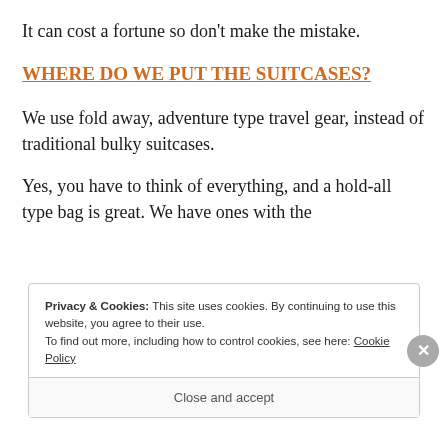It can cost a fortune so don't make the mistake.
WHERE DO WE PUT THE SUITCASES?
We use fold away, adventure type travel gear, instead of traditional bulky suitcases.
Yes, you have to think of everything, and a hold-all type bag is great. We have ones with the
Privacy & Cookies: This site uses cookies. By continuing to use this website, you agree to their use.
To find out more, including how to control cookies, see here: Cookie Policy
Close and accept